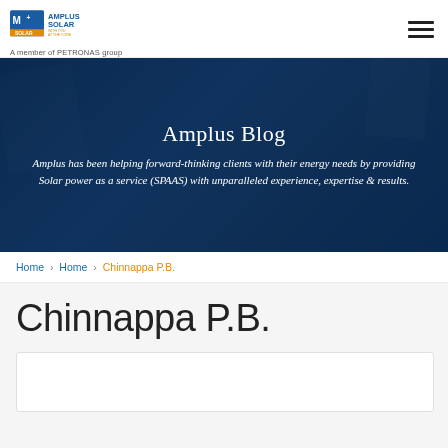[Figure (logo): Amplus Solar logo with M+ icon and tagline 'With You at the Core', member of PETRONAS group]
[Figure (photo): Hero banner with dark blue overlay showing Amplus Blog heading and tagline text]
Amplus Blog
Amplus has been helping forward-thinking clients with their energy needs by providing Solar power as a service (SPAAS) with unparalleled experience, expertise & results.
Home > Home > Chinnappa P.B.
Chinnappa P.B.